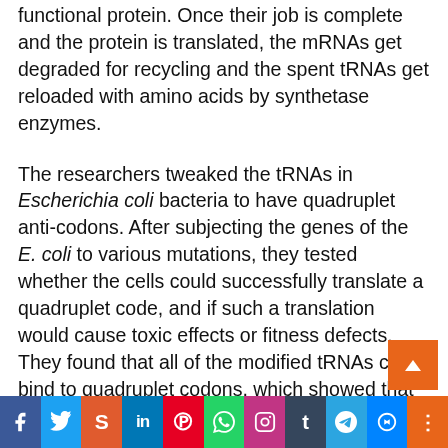functional protein. Once their job is complete and the protein is translated, the mRNAs get degraded for recycling and the spent tRNAs get reloaded with amino acids by synthetase enzymes.
The researchers tweaked the tRNAs in Escherichia coli bacteria to have quadruplet anti-codons. After subjecting the genes of the E. coli to various mutations, they tested whether the cells could successfully translate a quadruplet code, and if such a translation would cause toxic effects or fitness defects. They found that all of the modified tRNAs could bind to quadruplet codons, which showed that "there's nothing biophysically wrong with doing translation with this larger codon size," DeBenedictis said.